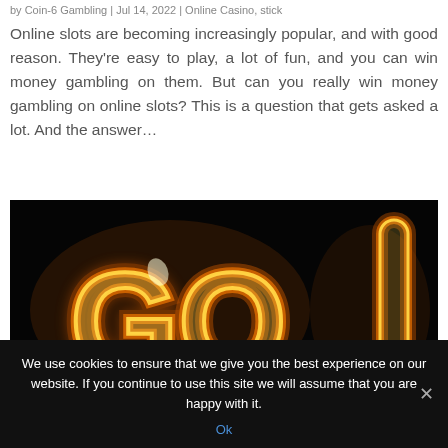by Coin-6 Gambling | Jul 14, 2022 | Online Casino, stick
Online slots are becoming increasingly popular, and with good reason. They’re easy to play, a lot of fun, and you can win money gambling on them. But can you really win money gambling on online slots? This is a question that gets asked a lot. And the answer…
[Figure (photo): Dark background with glowing neon golden letters spelling 'GO!' with orange and yellow neon light effects]
We use cookies to ensure that we give you the best experience on our website. If you continue to use this site we will assume that you are happy with it.